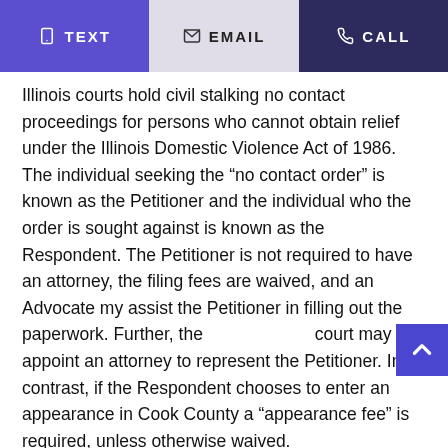TEXT | EMAIL | CALL
Illinois courts hold civil stalking no contact proceedings for persons who cannot obtain relief under the Illinois Domestic Violence Act of 1986. The individual seeking the “no contact order” is known as the Petitioner and the individual who the order is sought against is known as the Respondent. The Petitioner is not required to have an attorney, the filing fees are waived, and an Advocate my assist the Petitioner in filling out the paperwork. Further, the court may appoint an attorney to represent the Petitioner. In contrast, if the Respondent chooses to enter an appearance in Cook County a “appearance fee” is required, unless otherwise waived.
A Stalking No Contact Order is relatively